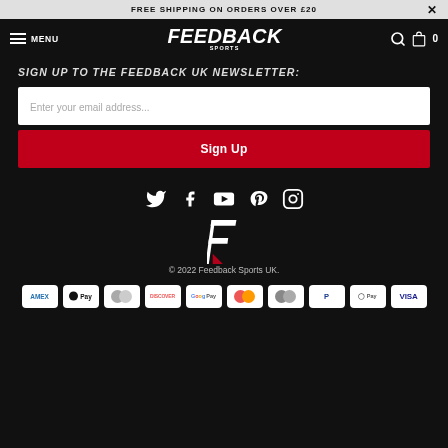FREE SHIPPING ON ORDERS OVER £20
[Figure (logo): Feedback Sports logo with hamburger menu, search and cart icons in navigation bar]
SIGN UP TO THE FEEDBACK UK NEWSLETTER:
Enter your email address...
Sign Up
[Figure (infographic): Social media icons row: Twitter, Facebook, YouTube, Pinterest, Instagram]
[Figure (logo): Feedback Sports F logo mark]
© 2022 Feedback Sports UK.
[Figure (infographic): Payment method badges: AMEX, Apple Pay, Diners, Discover, Google Pay, Mastercard, Mastercard gray, PayPal, O Pay, VISA]